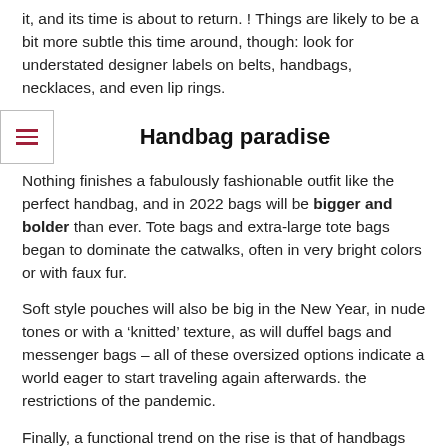it, and its time is about to return. ! Things are likely to be a bit more subtle this time around, though: look for understated designer labels on belts, handbags, necklaces, and even lip rings.
Handbag paradise
Nothing finishes a fabulously fashionable outfit like the perfect handbag, and in 2022 bags will be bigger and bolder than ever. Tote bags and extra-large tote bags began to dominate the catwalks, often in very bright colors or with faux fur.
Soft style pouches will also be big in the New Year, in nude tones or with a ‘knitted’ texture, as will duffel bags and messenger bags – all of these oversized options indicate a world eager to start traveling again afterwards. the restrictions of the pandemic.
Finally, a functional trend on the rise is that of handbags with exterior wallet compartments. While for security reasons it might not be a good idea to store your wallets in these pockets, other essentials